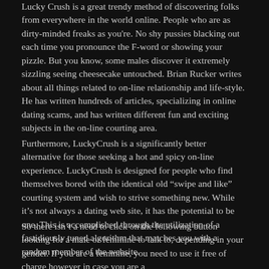Lucky Crush is a great trendy method of discovering folks from everywhere in the world online. People who are as dirty-minded freaks as you're. No shy pussies blacking out each time you pronounce the F-word or showing your pizzle. But you know, some males discover it extremely sizzling seeing cheesecake untouched. Brian Rucker writes about all things related to on-line relationship and life-style. He has written hundreds of articles, specializing in online dating scams, and has written different fun and exciting subjects in the on-line courting area.
Furthermore, LuckyCrush is a significantly better alternative for those seeking a hot and spicy on-line experience. LuckyCrush is designed for people who find themselves bored with the identical old “swipe and like” courting system and wish to strive something new. While it’s not always a dating web site, it has the potential to be one. This is accomplished through the utilization of a fastidiously tuned algorithm that matches you with a random member of the website.
So there isn’t a need to click on the following button looking for a male or feminine to talk to, depending in your gender. If you are a feminine, you need to use it free of charge however in case you are a